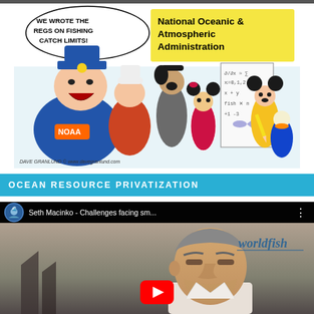[Figure (illustration): Political cartoon by Dave Granlund showing a laughing NOAA official saying 'We wrote the regs on fishing catch limits!' alongside Disney characters (Goofy, Minnie Mouse, Mickey Mouse, Donald Duck) holding a chart with math equations. Sign reads 'National Oceanic & Atmospheric Administration'. Caption: DAVE GRANLUND © www.davegranlund.com]
OCEAN RESOURCE PRIVATIZATION
[Figure (screenshot): YouTube video thumbnail showing Seth Macinko - Challenges facing sm... with a man's face visible and worldfish branding on the right side. A red YouTube play button is visible at the bottom center.]